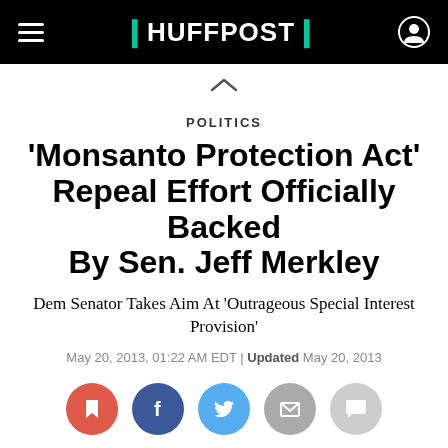HUFFPOST
POLITICS
'Monsanto Protection Act' Repeal Effort Officially Backed By Sen. Jeff Merkley
Dem Senator Takes Aim At 'Outrageous Special Interest Provision'
May 20, 2013, 01:22 AM EDT | Updated May 20, 2013
[Figure (infographic): Social sharing buttons: bookmark (red), Facebook (blue), Twitter (light blue), email (gray), comment (light gray)]